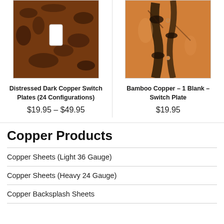[Figure (photo): Distressed dark copper switch plate with toggle cutout, dark brown textured surface]
[Figure (photo): Bamboo copper switch plate, 1 blank, warm orange-brown copper with dark bamboo pattern]
Distressed Dark Copper Switch Plates (24 Configurations)
$19.95 – $49.95
Bamboo Copper – 1 Blank – Switch Plate
$19.95
Copper Products
Copper Sheets (Light 36 Gauge)
Copper Sheets (Heavy 24 Gauge)
Copper Backsplash Sheets